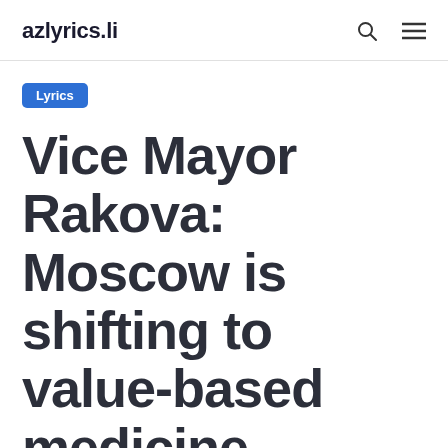azlyrics.li
Lyrics
Vice Mayor Rakova: Moscow is shifting to value-based medicine